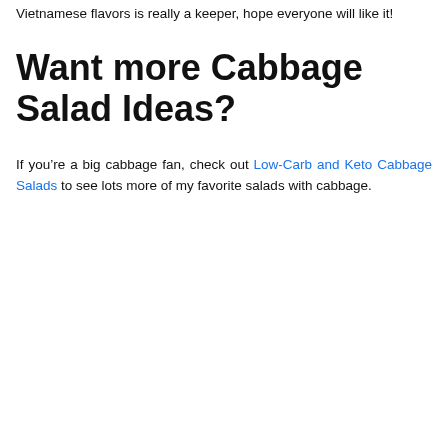Vietnamese flavors is really a keeper, hope everyone will like it!
Want more Cabbage Salad Ideas?
If you’re a big cabbage fan, check out Low-Carb and Keto Cabbage Salads to see lots more of my favorite salads with cabbage.